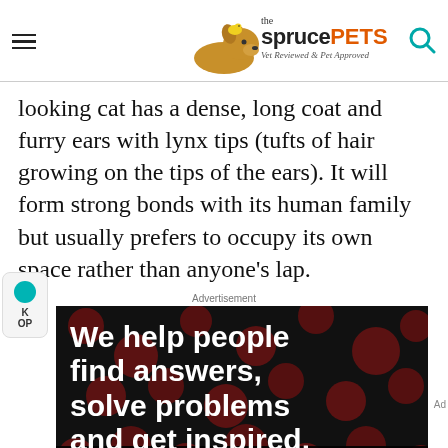the spruce PETS — Vet Reviewed & Pet Approved
looking cat has a dense, long coat and furry ears with lynx tips (tufts of hair growing on the tips of the ears). It will form strong bonds with its human family but usually prefers to occupy its own space rather than anyone's lap.
Advertisement
[Figure (screenshot): Advertisement banner showing text 'We help people find answers, solve problems and get inspired' on a dark background with red dot pattern. Bottom bar shows Dotdash Meredith branding.]